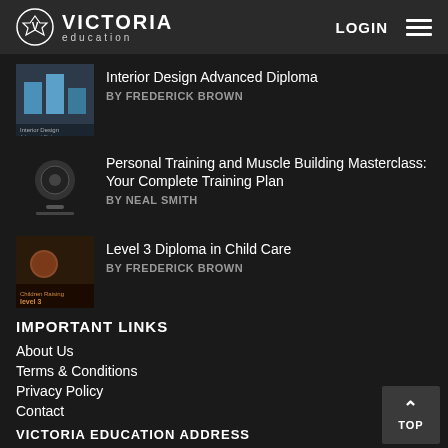VICTORIA education | LOGIN
Interior Design Advanced Diploma — BY FREDERICK BROWN
Personal Training and Muscle Building Masterclass: Your Complete Training Plan — BY NEAL SMITH
Level 3 Diploma in Child Care — BY FREDERICK BROWN
IMPORTANT LINKS
About Us
Terms & Conditions
Privacy Policy
Contact
VICTORIA EDUCATION ADDRESS
Universal House, 88 Wentworth Street, London, E1 7SA